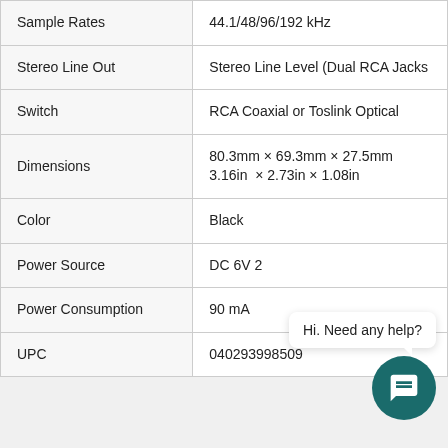| Feature | Value |
| --- | --- |
| Sample Rates | 44.1/48/96/192 kHz |
| Stereo Line Out | Stereo Line Level (Dual RCA Jacks |
| Switch | RCA Coaxial or Toslink Optical |
| Dimensions | 80.3mm × 69.3mm × 27.5mm
3.16in  × 2.73in × 1.08in |
| Color | Black |
| Power Source | DC 6V 2... |
| Power Consumption | 90 mA |
| UPC | 040293998509 |